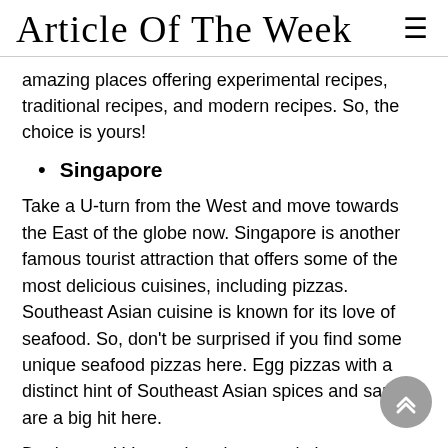Article Of The Week
amazing places offering experimental recipes, traditional recipes, and modern recipes. So, the choice is yours!
Singapore
Take a U-turn from the West and move towards the East of the globe now. Singapore is another famous tourist attraction that offers some of the most delicious cuisines, including pizzas. Southeast Asian cuisine is known for its love of seafood. So, don't be surprised if you find some unique seafood pizzas here. Egg pizzas with a distinct hint of Southeast Asian spices and sauces are a big hit here.
Don't worry! Vegetarian pizzas and pizza franchises are available here as well.